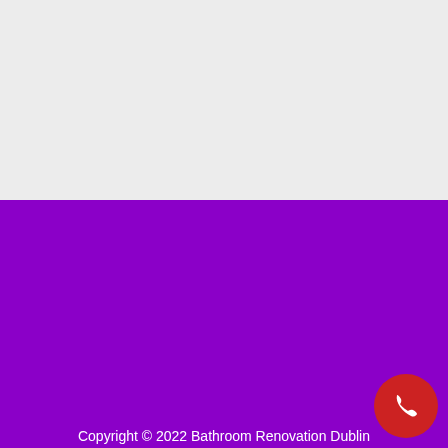Copyright © 2022 Bathroom Renovation Dublin
Privacy Policy | TOS | DMCA PROTECTED
[Figure (other): Social media icons row: Facebook (dark blue circle), YouTube (red circle), LinkedIn (teal circle), Pinterest (dark red circle), and a red phone call button in the bottom right corner.]